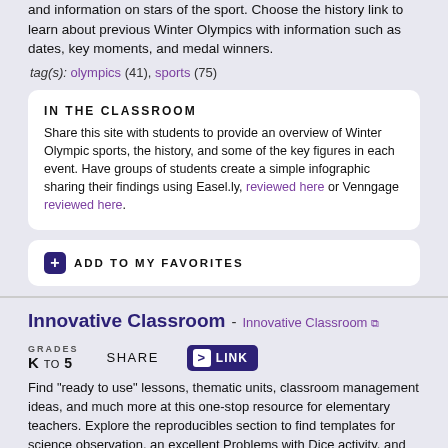and information on stars of the sport. Choose the history link to learn about previous Winter Olympics with information such as dates, key moments, and medal winners.
tag(s): olympics (41), sports (75)
IN THE CLASSROOM
Share this site with students to provide an overview of Winter Olympic sports, the history, and some of the key figures in each event. Have groups of students create a simple infographic sharing their findings using Easel.ly, reviewed here or Venngage reviewed here.
ADD TO MY FAVORITES
Innovative Classroom - Innovative Classroom
GRADES K TO 5
SHARE
LINK
Find "ready to use" lessons, thematic units, classroom management ideas, and much more at this one-stop resource for elementary teachers. Explore the reproducibles section to find templates for science observation, an excellent Problems with Dice activity, and an Internet usage survey. After choosing a reproducible, be sure to look on the right side of the page for